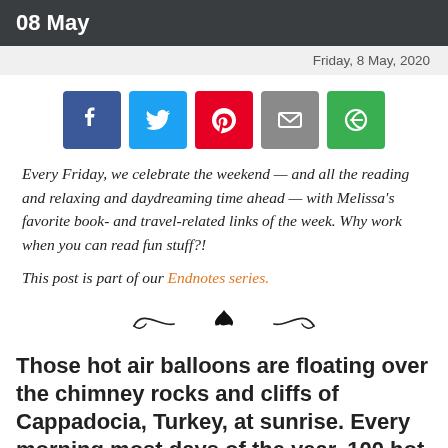08 May
Friday, 8 May, 2020
[Figure (other): Social sharing buttons: Facebook, Twitter, Pinterest, Email, ShareThis]
Every Friday, we celebrate the weekend — and all the reading and relaxing and daydreaming time ahead — with Melissa's favorite book- and travel-related links of the week. Why work when you can read fun stuff?!
This post is part of our Endnotes series.
[Figure (illustration): Decorative divider with swirl and bird silhouette]
Those hot air balloons are floating over the chimney rocks and cliffs of Cappadocia, Turkey, at sunrise. Every morning most days of the year, 100 hot